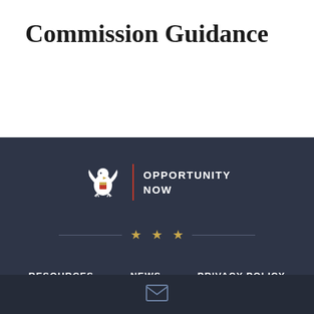Commission Guidance
[Figure (logo): Opportunity Now logo with US eagle seal and red vertical divider, text reads OPPORTUNITY NOW]
[Figure (infographic): Three gold stars with horizontal lines on either side as a decorative divider]
RESOURCES   NEWS   PRIVACY POLICY
[Figure (infographic): Envelope/email icon in the dark footer bar]